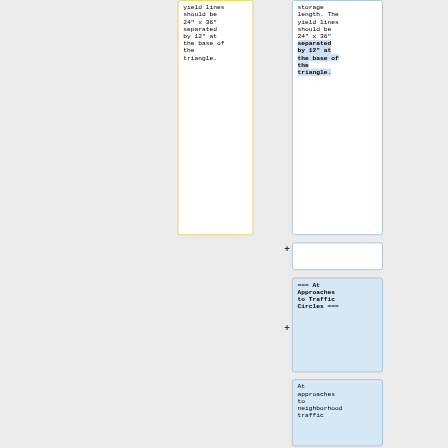yield lines should be 24″ x 36″ separated by 12″ at the base of the triangle.
storage length. The yield lines should be 24″ x 36″ separated by 12″ at the base of the triangle.
=== At Approaches to Traffic Circles ===
At approaches to neighborhood traffic